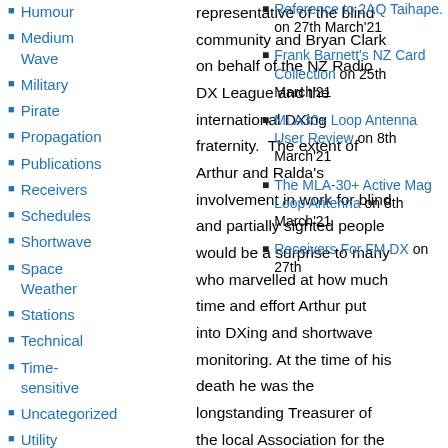Humour
Medium Wave
Military
Pirate
Propagation
Publications
Receivers
Schedules
Shortwave
Space Weather
Stations
Technical
Time-sensitive
Uncategorized
Utility
representative of the blind community and Bryan Clark on behalf of the NZ Radio DX League and the international DXing fraternity. The extent of Arthur and Ralda's involvement in work for blind and partially sighted people would be a surprise to many who marvelled at how much time and effort Arthur put into DXing and shortwave monitoring. At the time of his death he was the longstanding Treasurer of the local Association for the Blind & Partially Blind, and a member of the Advisory Committee of The NZ Foundation for the Blind. He was National Vice President from 1968 to 1979. Queen Elizabeth personally presented Arthur with his award as a Member of the Most Excellent Order of
Reference to 2AQ Taihape. on 27th March'21
Frank Barnett's NZ Card Collection on 25th March'21
MLA30+ Loop Antenna User Review on 8th March'21
The MLA-30+ Active Mag Loop Antenna on 8th March'21
Receivers For FM DX on 27th